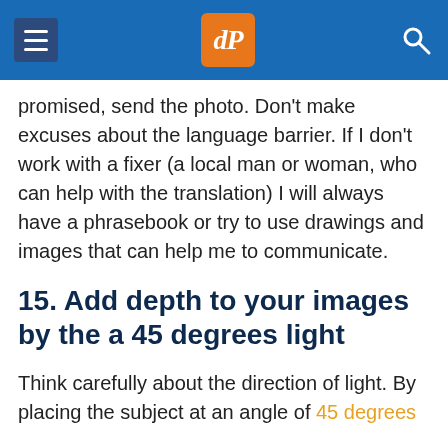dPS navigation header
promised, send the photo. Don't make excuses about the language barrier. If I don't work with a fixer (a local man or woman, who can help with the translation) I will always have a phrasebook or try to use drawings and images that can help me to communicate.
15. Add depth to your images by the a 45 degrees light
Think carefully about the direction of light. By placing the subject at an angle of 45 degrees